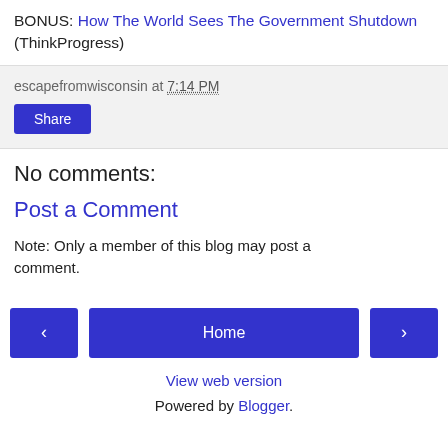BONUS: How The World Sees The Government Shutdown (ThinkProgress)
escapefromwisconsin at 7:14 PM
Share
No comments:
Post a Comment
Note: Only a member of this blog may post a comment.
< Home > View web version Powered by Blogger.